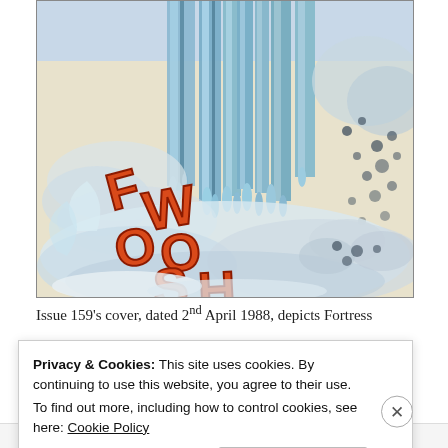[Figure (illustration): Comic book panel showing 'FWOOSH' sound effect text in bold red/orange letters over a dramatic scene of a large icy fortress structure with swirling clouds and water effects. The artwork is in a classic comic book style with blue, black, and cream colors.]
Issue 159's cover, dated 2nd April 1988, depicts Fortress
Privacy & Cookies: This site uses cookies. By continuing to use this website, you agree to their use.
To find out more, including how to control cookies, see here: Cookie Policy
Close and accept